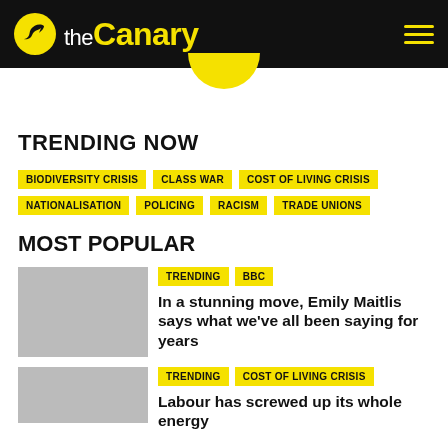theCanary
TRENDING NOW
BIODIVERSITY CRISIS
CLASS WAR
COST OF LIVING CRISIS
NATIONALISATION
POLICING
RACISM
TRADE UNIONS
MOST POPULAR
TRENDING  BBC
In a stunning move, Emily Maitlis says what we’ve all been saying for years
TRENDING  COST OF LIVING CRISIS
Labour has screwed up its whole energy